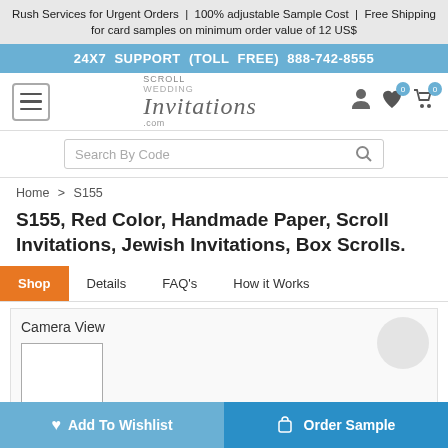Rush Services for Urgent Orders | 100% adjustable Sample Cost | Free Shipping for card samples on minimum order value of 12 US$
24X7 SUPPORT (TOLL FREE) 888-742-8555
[Figure (logo): Scroll Wedding Invitations .com logo with hamburger menu, user, heart, and cart icons]
Search By Code
Home > S155
S155, Red Color, Handmade Paper, Scroll Invitations, Jewish Invitations, Box Scrolls.
Shop | Details | FAQ's | How it Works
Camera View
Add To Wishlist
Order Sample